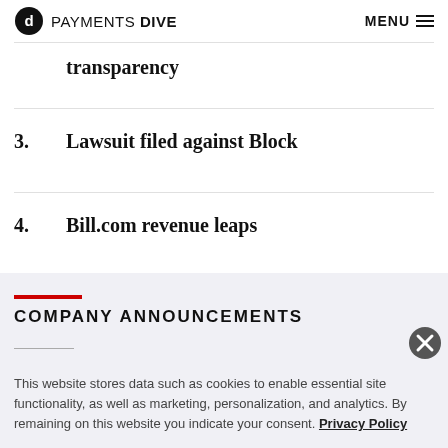PAYMENTS DIVE  MENU
transparency
3. Lawsuit filed against Block
4. Bill.com revenue leaps
COMPANY ANNOUNCEMENTS
This website stores data such as cookies to enable essential site functionality, as well as marketing, personalization, and analytics. By remaining on this website you indicate your consent. Privacy Policy